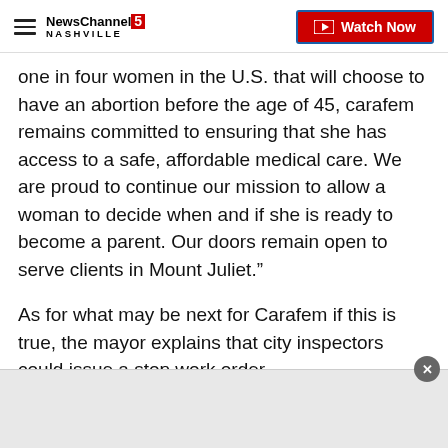NewsChannel5 Nashville — Watch Now
one in four women in the U.S. that will choose to have an abortion before the age of 45, carafem remains committed to ensuring that she has access to a safe, affordable medical care. We are proud to continue our mission to allow a woman to decide when and if she is ready to become a parent. Our doors remain open to serve clients in Mount Juliet.”
As for what may be next for Carafem if this is true, the mayor explains that city inspectors could issue a stop work order.